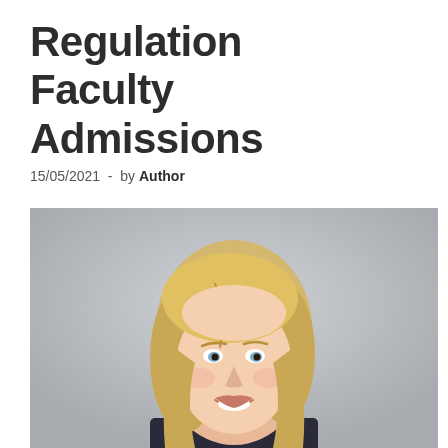Regulation   Faculty Admissions
15/05/2021  -  by Author
[Figure (photo): Professional headshot of a smiling blonde woman against a light grey background]